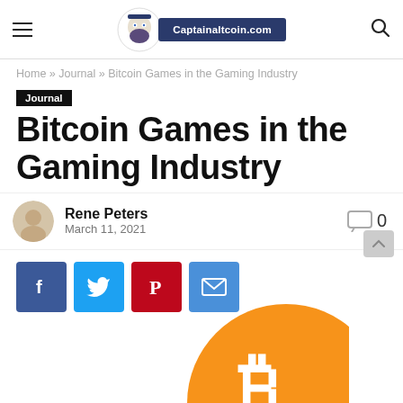Captainaltcoin.com
Home » Journal » Bitcoin Games in the Gaming Industry
Journal
Bitcoin Games in the Gaming Industry
Rene Peters
March 11, 2021
[Figure (infographic): Social share buttons: Facebook, Twitter, Pinterest, Email]
[Figure (illustration): Bitcoin logo - orange circle with white B symbol, partially visible at bottom right]